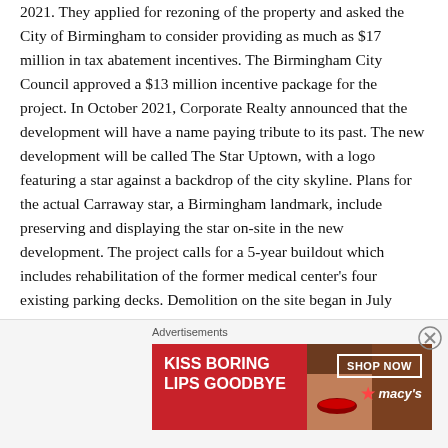2021. They applied for rezoning of the property and asked the City of Birmingham to consider providing as much as $17 million in tax abatement incentives. The Birmingham City Council approved a $13 million incentive package for the project. In October 2021, Corporate Realty announced that the development will have a name paying tribute to its past. The new development will be called The Star Uptown, with a logo featuring a star against a backdrop of the city skyline. Plans for the actual Carraway star, a Birmingham landmark, include preserving and displaying the star on-site in the new development. The project calls for a 5-year buildout which includes rehabilitation of the former medical center's four existing parking decks. Demolition on the site began in July 2022.
Advertisements
[Figure (other): Advertisement banner for Macy's lip products showing a woman's face with text 'KISS BORING LIPS GOODBYE' and a 'SHOP NOW' button with the Macy's star logo]